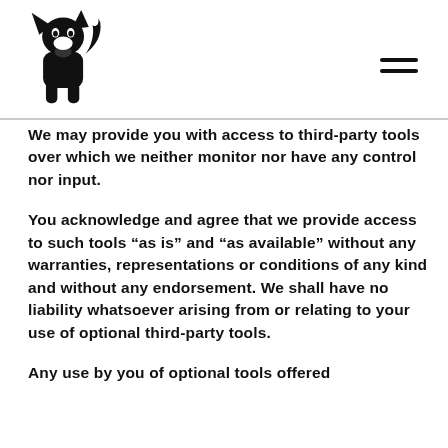[Figure (logo): Black fox/wolf silhouette logo facing forward with tail raised]
We may provide you with access to third-party tools over which we neither monitor nor have any control nor input.
You acknowledge and agree that we provide access to such tools “as is” and “as available” without any warranties, representations or conditions of any kind and without any endorsement. We shall have no liability whatsoever arising from or relating to your use of optional third-party tools.
Any use by you of optional tools offered